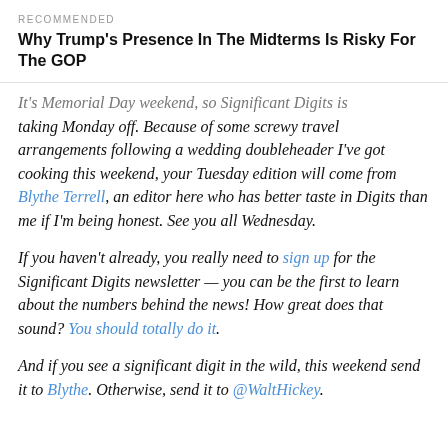RECOMMENDED
Why Trump's Presence In The Midterms Is Risky For The GOP
It's Memorial Day weekend, so Significant Digits is taking Monday off. Because of some screwy travel arrangements following a wedding doubleheader I've got cooking this weekend, your Tuesday edition will come from Blythe Terrell, an editor here who has better taste in Digits than me if I'm being honest. See you all Wednesday.
If you haven't already, you really need to sign up for the Significant Digits newsletter — you can be the first to learn about the numbers behind the news! How great does that sound? You should totally do it.
And if you see a significant digit in the wild, this weekend send it to Blythe. Otherwise, send it to @WaltHickey.